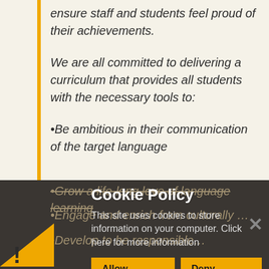ensure staff and students feel proud of their achievements.
We are all committed to delivering a curriculum that provides all students with the necessary tools to:
•Be ambitious in their communication of the target language
•Grow a life-long love of language learning
•Engage and enrich from culturally enriching activities that will com...
•Develop to be responsible global...
Cookie Policy
This site uses cookies to store information on your computer. Click here for more information
Allow Cookies  Deny Cookies